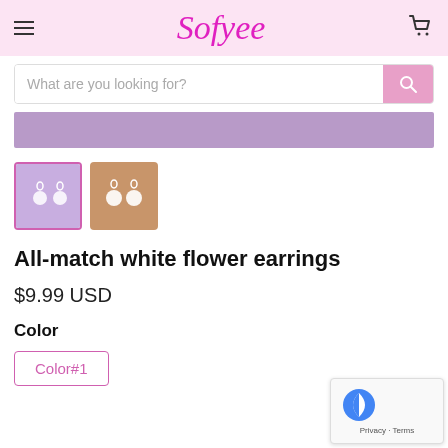Sofyee
What are you looking for?
[Figure (photo): Purple banner strip]
[Figure (photo): Two product thumbnails: first shows white flower earrings on lavender background (selected/active), second shows white flower earrings on warm brown background]
All-match white flower earrings
$9.99 USD
Color
Color#1